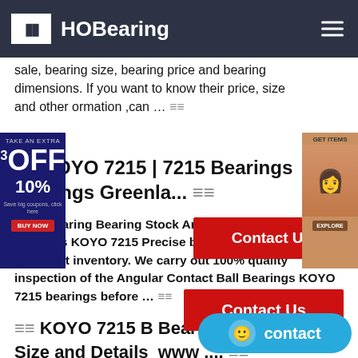HOBearing
sale, bearing size, bearing price and bearing dimensions. If you want to know their price, size and other ormation ,can …
KOYO 7215 | 7215 Bearings bearings Greenla...
66Bearing Bearing Stock Angular Contact Ball Bearings KOYO 7215 Precise bearings are currently in sufficient inventory. We carry out 100% quality inspection of the Angular Contact Ball Bearings KOYO 7215 bearings before …
KOYO 7215 B Bearing_KOYO Size and Details_www ....